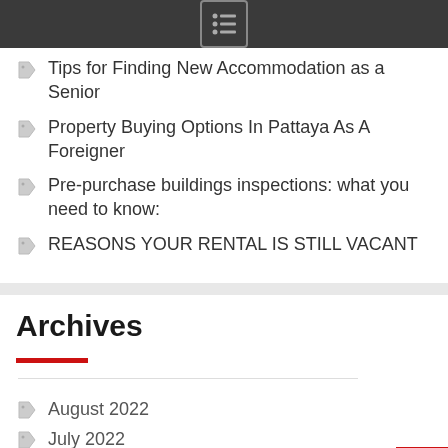Navigation menu icon
Tips for Finding New Accommodation as a Senior
Property Buying Options In Pattaya As A Foreigner
Pre-purchase buildings inspections: what you need to know:
REASONS YOUR RENTAL IS STILL VACANT
Archives
August 2022
July 2022
May 2022